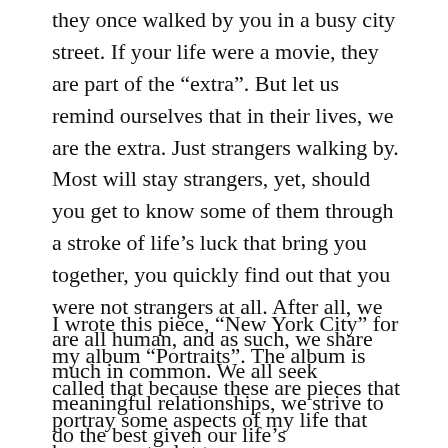they once walked by you in a busy city street. If your life were a movie, they are part of the “extra”. But let us remind ourselves that in their lives, we are the extra. Just strangers walking by. Most will stay strangers, yet, should you get to know some of them through a stroke of life’s luck that bring you together, you quickly find out that you were not strangers at all. After all, we are all human, and as such, we share much in common. We all seek meaningful relationships, we strive to do the best given our life’s circumstances, we worry about our future, and we ponder about things like the meaning of life and our place in society.
I wrote this piece, “New York City” for my album “Portraits”. The album is called that because these are pieces that portray some aspects of my life that have meant a lot to me.